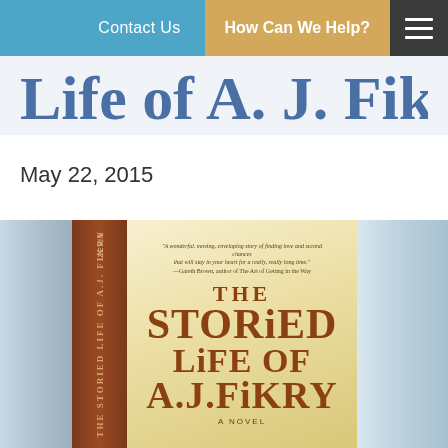Contact Us | How Can We Help?
Life of A. J. Fikry
May 22, 2015
[Figure (photo): A photograph of the hardcover book 'The Storied Life of A.J. Fikry' — a novel — shown with its spine and front cover visible, resting on a surface with a blurred background.]